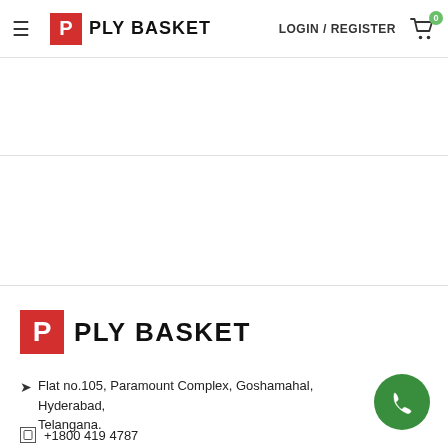PLY BASKET — LOGIN / REGISTER — Cart (0)
[Figure (logo): PLY BASKET logo in footer: red square with white P letter, followed by bold uppercase PLY BASKET text]
Flat no.105, Paramount Complex, Goshamahal, Hyderabad, Telangana.
+1800 419 4787